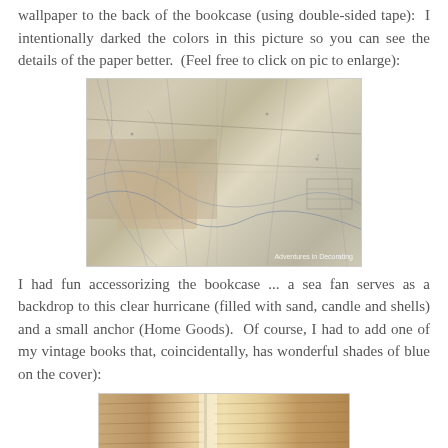wallpaper to the back of the bookcase (using double-sided tape):  I intentionally darked the colors in this picture so you can see the details of the paper better.  (Feel free to click on pic to enlarge):
[Figure (photo): A darkened photograph of vintage map wallpaper applied to the back of a bookcase, showing lines, topographic details, and a watermark reading 'Adventures in Decorating' in the bottom right corner.]
I had fun accessorizing the bookcase ... a sea fan serves as a backdrop to this clear hurricane (filled with sand, candle and shells) and a small anchor (Home Goods).  Of course, I had to add one of my vintage books that, coincidentally, has wonderful shades of blue on the cover):
[Figure (photo): A partial photograph showing a vintage book with a tan/brown textured cover, showing the spine and front cover, placed in the bookcase.]